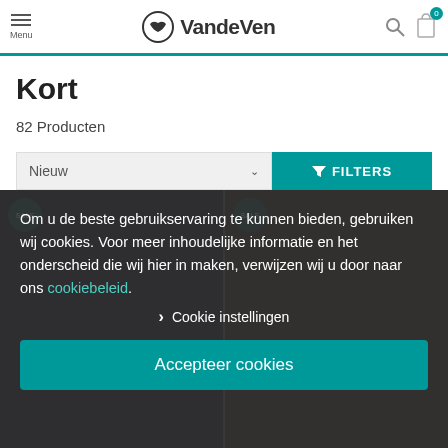Menu | VandeVen | Search | Cart (0)
Kort
82 Producten
Nieuw | FILTERS
[Figure (screenshot): Two product thumbnail images of dark trousers with SALE badges]
Om u de beste gebruikservaring te kunnen bieden, gebruiken wij cookies. Voor meer inhoudelijke informatie en het onderscheid die wij hier in maken, verwijzen wij u door naar ons cookiebeleid.
> Cookie instellingen
Accepteer cookies